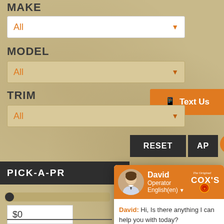MAKE
All
MODEL
All
TRIM
All
RESET
AP...
PICK-A-PR...
$0
Text Us
[Figure (screenshot): Live chat widget showing agent David (Operator, English) with Cox's dealership logo, message: 'Hi, Is there anything I can help you with today?' and a text input field. Powered by LiveAdmins.]